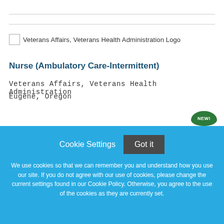[Figure (logo): Veterans Affairs, Veterans Health Administration Logo — broken image placeholder with alt text]
Nurse (Ambulatory Care-Intermittent)
Veterans Affairs, Veterans Health Administration
Eugene, Oregon
Cookie Settings  Got it
We use cookies so that we can remember you and understand how you use our site. If you do not agree with our use of cookies, please change the current settings found in our Cookie Policy. Otherwise, you agree to the use of the cookies as they are currently set.